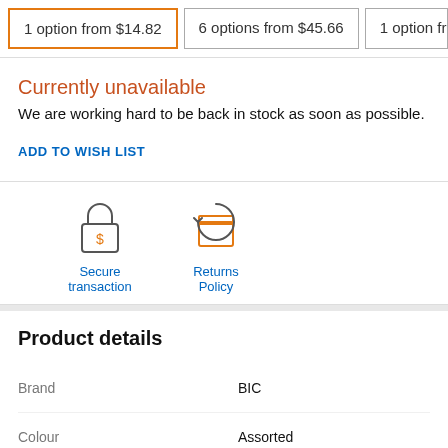1 option from $14.82
6 options from $45.66
1 option fro...
Currently unavailable
We are working hard to be back in stock as soon as possible.
ADD TO WISH LIST
[Figure (illustration): Secure transaction lock icon with dollar sign]
[Figure (illustration): Returns Policy box with circular arrow icon]
Product details
| Brand | BIC |
| Colour | Assorted |